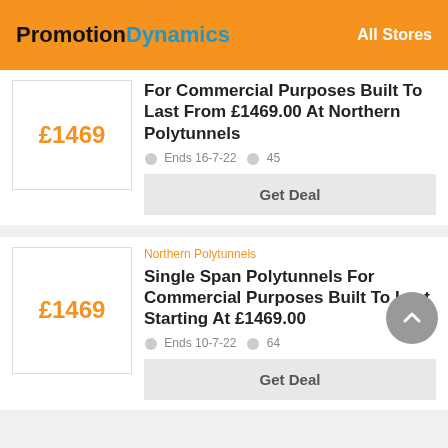PromotionDynamics — All Stores
£1469
For Commercial Purposes Built To Last From £1469.00 At Northern Polytunnels
Ends 16-7-22  45
Get Deal
Northern Polytunnels
£1469
Single Span Polytunnels For Commercial Purposes Built To Last Starting At £1469.00
Ends 10-7-22  64
Get Deal